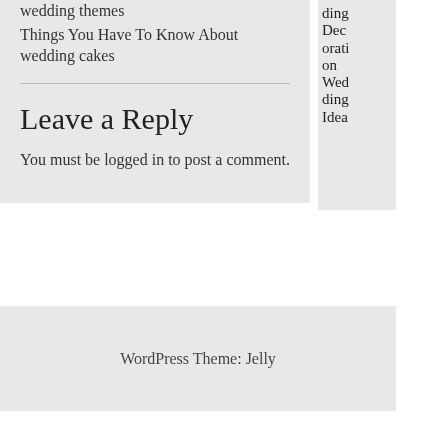wedding themes
Things You Have To Know About wedding cakes
Leave a Reply
You must be logged in to post a comment.
ding Dec oration Wedding Idea
WordPress Theme: Jelly